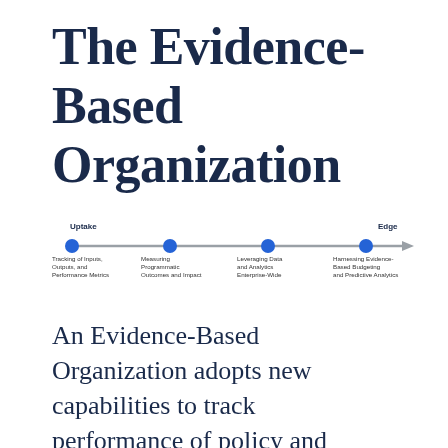The Evidence-Based Organization
[Figure (infographic): A horizontal timeline/spectrum from 'Uptake' on the left to 'Edge' on the right, with four blue dots connected by a gray arrow line. Labels beneath each dot: 1) Tracking of Inputs, Outputs, and Performance Metrics; 2) Measuring Programmatic Outcomes and Impact; 3) Leveraging Data and Analytics Enterprise-Wide; 4) Harnessing Evidence-Based Budgeting and Predictive Analytics]
An Evidence-Based Organization adopts new capabilities to track performance of policy and programs, benchmark against